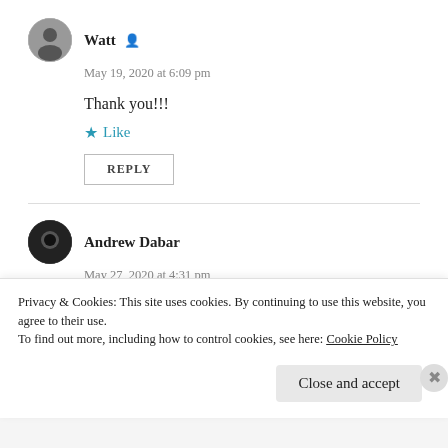Watt
May 19, 2020 at 6:09 pm
Thank you!!!
Like
REPLY
Andrew Dabar
May 27, 2020 at 4:31 pm
Privacy & Cookies: This site uses cookies. By continuing to use this website, you agree to their use.
To find out more, including how to control cookies, see here: Cookie Policy
Close and accept